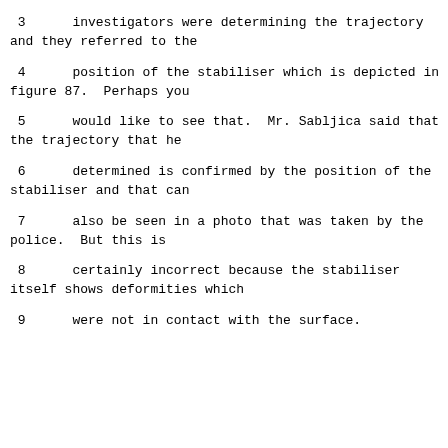3      investigators were determining the trajectory and they referred to the
4      position of the stabiliser which is depicted in figure 87.  Perhaps you
5      would like to see that.  Mr. Sabljica said that the trajectory that he
6      determined is confirmed by the position of the stabiliser and that can
7      also be seen in a photo that was taken by the police.  But this is
8      certainly incorrect because the stabiliser itself shows deformities which
9      were not in contact with the surface.